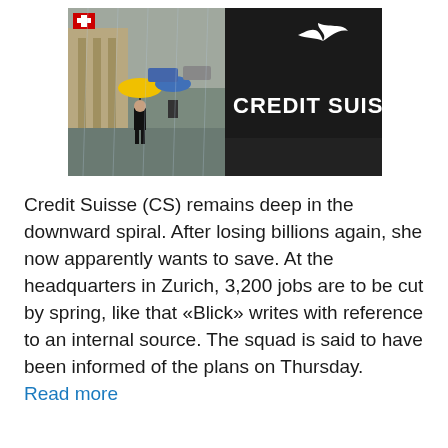[Figure (photo): Split photo showing a rainy street scene in Zurich on the left (person with yellow umbrella, Swiss flag visible) and a dark stone Credit Suisse signage on the right with white bird logo.]
Credit Suisse (CS) remains deep in the downward spiral. After losing billions again, she now apparently wants to save. At the headquarters in Zurich, 3,200 jobs are to be cut by spring, like that «Blick» writes with reference to an internal source. The squad is said to have been informed of the plans on Thursday. Read more